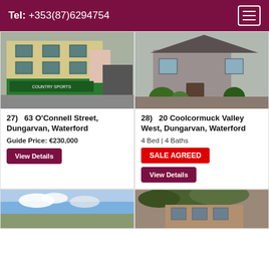Tel: +353(87)6294754
[Figure (photo): Street-level photo of a commercial building with green storefront (Country Sports) in Dungarvan]
27)   63 O'Connell Street, Dungarvan, Waterford
Guide Price: €230,000
View Details
[Figure (photo): Photo of a stone-fronted residential house with shrubs at 20 Coolcormuck Valley West, Dungarvan]
28)   20 Coolcormuck Valley West, Dungarvan, Waterford
4 Bed | 4 Baths
SALE AGREED
View Details
[Figure (photo): Partial photo of a property with blue sky and clouds]
[Figure (photo): Partial photo of a property with foliage]